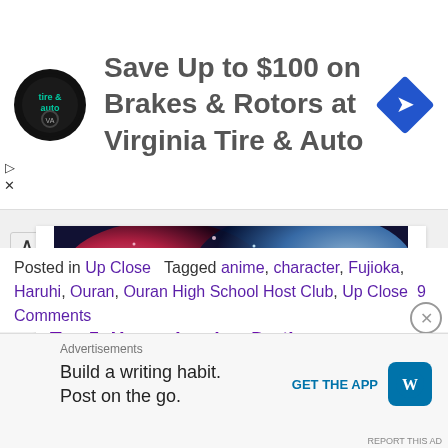[Figure (screenshot): Advertisement banner for Virginia Tire & Auto: logo, text 'Save Up to $100 on Brakes & Rotors at Virginia Tire & Auto', and a blue diamond-shaped arrow icon]
[Figure (photo): Fireworks image with text 'TOP 5' overlay]
Top 5: Harem Leads – Do these guys stand out from the crowd?
In "Top 5"
Posted in Up Close   Tagged anime, character, Fujioka, Haruhi, Ouran, Ouran High School Host Club, Up Close   9 Comments
Advertisements
Build a writing habit. Post on the go.
GET THE APP